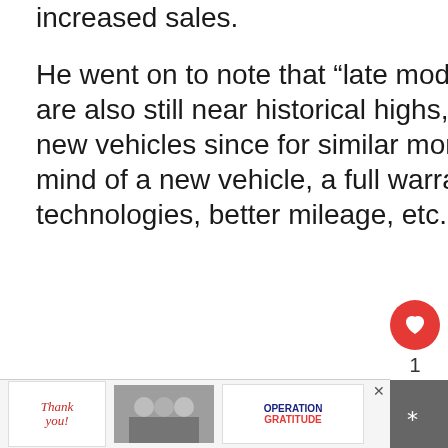increased sales.
He went on to note that “late model used car transaction prices are also still near historical highs, which pushes people towards new vehicles since for similar money, they can get the peace of mind of a new vehicle, a full warranty, the newest features and technologies, better mileage, etc.”
[Figure (other): Like (heart) button in red circle with count of 1, and share button below it]
[Figure (other): What's Next promo showing a thumbnail image with text 'WHAT'S NEXT → How To Know If Your Start...']
[Figure (other): Advertisement banner at bottom: Thank you with Operation Gratitude imagery, with close button]